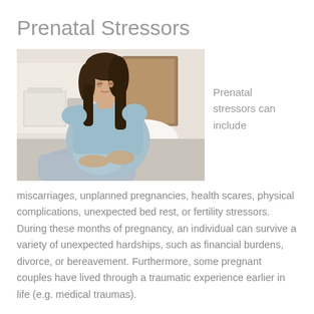Prenatal Stressors
[Figure (photo): A pregnant woman in a light blue dress sitting against a headboard, holding her belly, appearing to be in mild discomfort. A room with a table and chairs is visible in the background.]
Prenatal stressors can include
miscarriages, unplanned pregnancies, health scares, physical complications, unexpected bed rest, or fertility stressors. During these months of pregnancy, an individual can survive a variety of unexpected hardships, such as financial burdens, divorce, or bereavement. Furthermore, some pregnant couples have lived through a traumatic experience earlier in life (e.g. medical traumas).